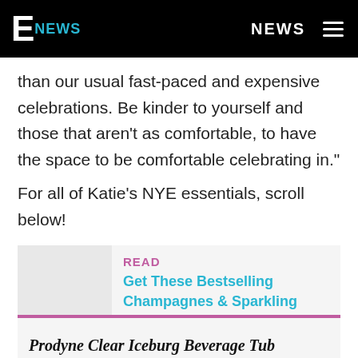E NEWS | NEWS
than our usual fast-paced and expensive celebrations. Be kinder to yourself and those that aren't as comfortable, to have the space to be comfortable celebrating in."
For all of Katie's NYE essentials, scroll below!
READ
Get These Bestselling Champagnes & Sparkling Wines Delivered for New Year's Eve
Prodyne Clear Iceburg Beverage Tub